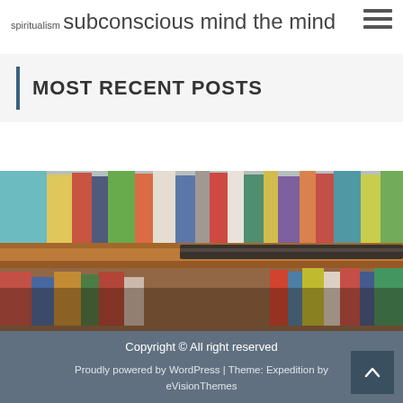spiritualism subconscious mind the mind
MOST RECENT POSTS
[Figure (photo): Blurred photo of colorful books on a library shelf with wooden shelf visible]
Copyright © All right reserved
Proudly powered by WordPress | Theme: Expedition by eVisionThemes